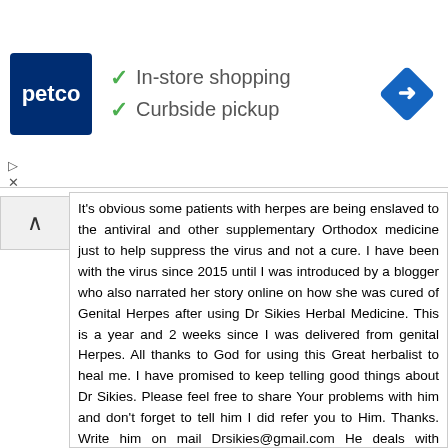[Figure (logo): Petco store advertisement banner with Petco logo, checkmarks for In-store shopping and Curbside pickup, and a navigation direction sign icon]
It's obvious some patients with herpes are being enslaved to the antiviral and other supplementary Orthodox medicine just to help suppress the virus and not a cure. I have been with the virus since 2015 until I was introduced by a blogger who also narrated her story online on how she was cured of Genital Herpes after using Dr Sikies Herbal Medicine. This is a year and 2 weeks since I was delivered from genital Herpes. All thanks to God for using this Great herbalist to heal me. I have promised to keep telling good things about Dr Sikies. Please feel free to share Your problems with him and don't forget to tell him I did refer you to Him. Thanks. Write him on mail Drsikies@gmail.com He deals with Alzheimer virus, Cancer, HIV, Herpes, Genital, warts, ALS, BV, UTI, Virginal infection, Genital, Wart, HPV, Hepatitis A/B, Good luck, HSV, Pregnancy, Ex back.
here is his website: https://drsikiesherbalcure.weebly.com